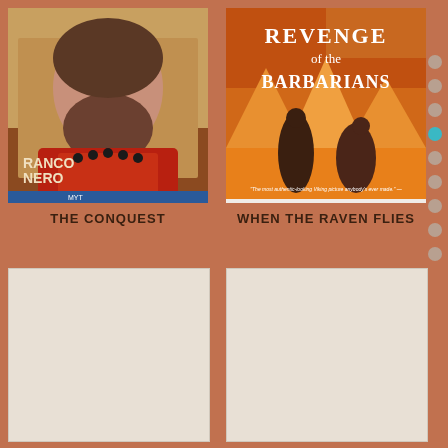[Figure (illustration): Movie poster for 'The Conquest' featuring a bearded man in red ornate clothing, text reading RANCO NERO]
THE CONQUEST
[Figure (illustration): Movie poster for 'When the Raven Flies' with text 'Revenge of the Barbarians' and figures in action scene]
WHEN THE RAVEN FLIES
[Figure (illustration): Bottom left movie card placeholder - beige/cream colored empty card]
[Figure (illustration): Bottom right movie card placeholder - beige/cream colored empty card]